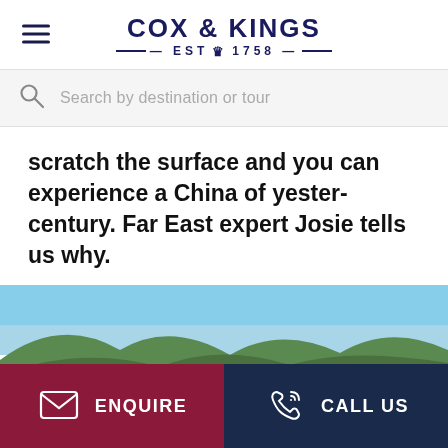COX & KINGS EST 1758
Search by destination or tour
scratch the surface and you can experience a China of yester-century. Far East expert Josie tells us why.
[Figure (photo): Aerial view of a Chinese village nestled among green hills and mountains under a blue sky]
ENQUIRE   CALL US